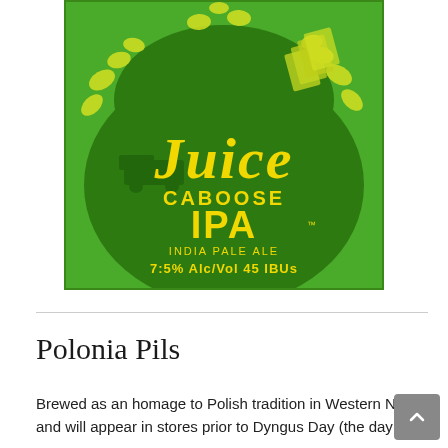[Figure (illustration): Beer label for Juice Caboose IPA — green background with yellow illustrated hops, playing cards, and stylized train imagery. Large yellow script text reads 'Juice', below it 'CABOOSE IPA', 'INDIA PALE ALE', '7.5% Alc/Vol  45 IBUs'.]
Polonia Pils
Brewed as an homage to Polish tradition in Western NY, and will appear in stores prior to Dyngus Day (the day